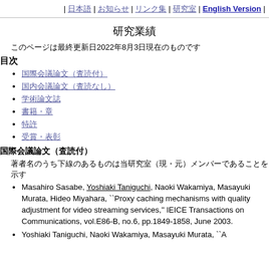| 日本語 | お知らせ | リンク集 | 研究室 | English Version |
研究業績
このページは最終更新日2022年8月3日現在のものです
目次
国際会議論文（査読付）
国内会議論文（査読なし）
学術論文誌
書籍・章
特許
受賞・表彰
国際会議論文（査読付）
著者名のうち下線のあるものは当研究室（現・元）メンバーであることを示す
Masahiro Sasabe, Yoshiaki Taniguchi, Naoki Wakamiya, Masayuki Murata, Hideo Miyahara, ``Proxy caching mechanisms with quality adjustment for video streaming services,'' IEICE Transactions on Communications, vol.E86-B, no.6, pp.1849-1858, June 2003.
Yoshiaki Taniguchi, Naoki Wakamiya, Masayuki Murata, ``A...